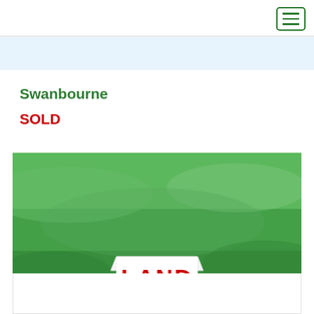Swanbourne
SOLD
[Figure (photo): A large green grassy field with a white 'LAND' sign visible in the lower center of the image. The sign has red text reading 'LAND'. A small watermark/logo appears in the bottom right corner of the photo.]